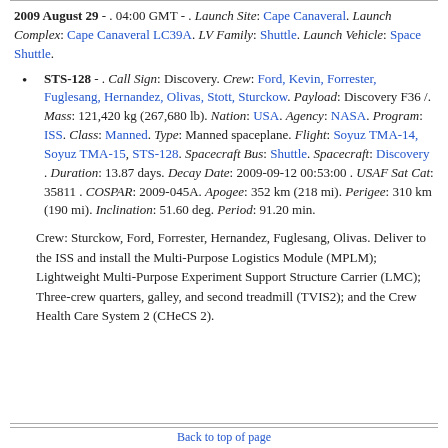2009 August 29 - . 04:00 GMT - . Launch Site: Cape Canaveral. Launch Complex: Cape Canaveral LC39A. LV Family: Shuttle. Launch Vehicle: Space Shuttle.
STS-128 - . Call Sign: Discovery. Crew: Ford, Kevin, Forrester, Fuglesang, Hernandez, Olivas, Stott, Sturckow. Payload: Discovery F36 /. Mass: 121,420 kg (267,680 lb). Nation: USA. Agency: NASA. Program: ISS. Class: Manned. Type: Manned spaceplane. Flight: Soyuz TMA-14, Soyuz TMA-15, STS-128. Spacecraft Bus: Shuttle. Spacecraft: Discovery . Duration: 13.87 days. Decay Date: 2009-09-12 00:53:00 . USAF Sat Cat: 35811 . COSPAR: 2009-045A. Apogee: 352 km (218 mi). Perigee: 310 km (190 mi). Inclination: 51.60 deg. Period: 91.20 min.
Crew: Sturckow, Ford, Forrester, Hernandez, Fuglesang, Olivas. Deliver to the ISS and install the Multi-Purpose Logistics Module (MPLM); Lightweight Multi-Purpose Experiment Support Structure Carrier (LMC); Three-crew quarters, galley, and second treadmill (TVIS2); and the Crew Health Care System 2 (CHeCS 2).
Back to top of page